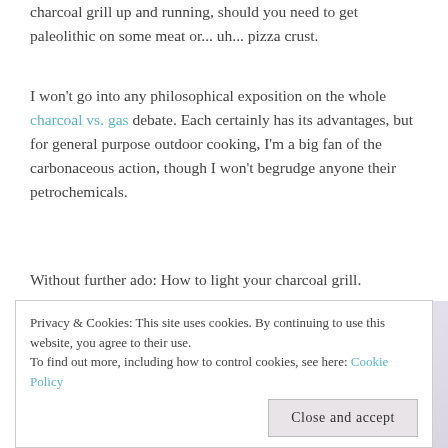charcoal grill up and running, should you need to get paleolithic on some meat or... uh... pizza crust.
I won't go into any philosophical exposition on the whole charcoal vs. gas debate. Each certainly has its advantages, but for general purpose outdoor cooking, I'm a big fan of the carbonaceous action, though I won't begrudge anyone their petrochemicals.
Without further ado: How to light your charcoal grill.
[Figure (photo): Photo showing a coiled teal/turquoise garden hose on a light background with green plant leaves visible on the left side.]
Privacy & Cookies: This site uses cookies. By continuing to use this website, you agree to their use. To find out more, including how to control cookies, see here: Cookie Policy